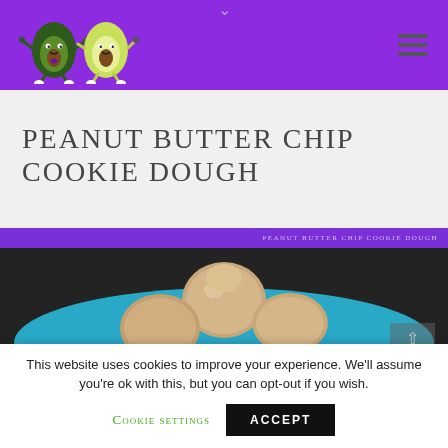[Figure (screenshot): Website header with purple background, two animated avocado cartoon character logo on the left, hamburger menu icon on the right]
PEANUT BUTTER CHIP COOKIE DOUGH
PEANUT BUTTER CHIP COOKIE DOUGH (breadcrumb)
[Figure (photo): Scoops of peanut butter chip cookie dough ice cream on a blue plate, dark background]
This website uses cookies to improve your experience. We'll assume you're ok with this, but you can opt-out if you wish.
Cookie settings  ACCEPT